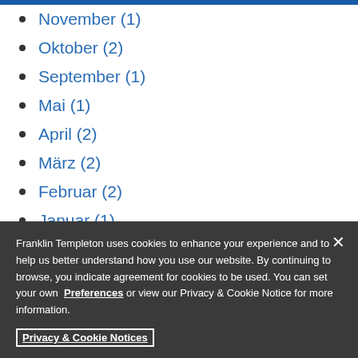November (1)
Oktober (2)
September (1)
Mai (1)
April (2)
März (2)
Februar (2)
Januar (1)
2020
Franklin Templeton uses cookies to enhance your experience and to help us better understand how you use our website. By continuing to browse, you indicate agreement for cookies to be used. You can set your own Preferences or view our Privacy & Cookie Notice for more information.
Privacy & Cookie Notices